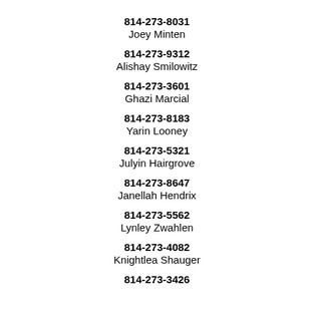814-273-8031
Joey Minten
814-273-9312
Alishay Smilowitz
814-273-3601
Ghazi Marcial
814-273-8183
Yarin Looney
814-273-5321
Julyin Hairgrove
814-273-8647
Janellah Hendrix
814-273-5562
Lynley Zwahlen
814-273-4082
Knightlea Shauger
814-273-3426